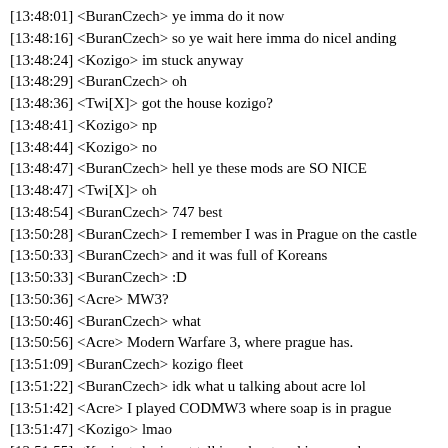[13:48:01] <BuranCzech> ye imma do it now
[13:48:16] <BuranCzech> so ye wait here imma do nicel anding
[13:48:24] <Kozigo> im stuck anyway
[13:48:29] <BuranCzech> oh
[13:48:36] <Twi[X]> got the house kozigo?
[13:48:41] <Kozigo> np
[13:48:44] <Kozigo> no
[13:48:47] <BuranCzech> hell ye these mods are SO NICE
[13:48:47] <Twi[X]> oh
[13:48:54] <BuranCzech> 747 best
[13:50:28] <BuranCzech> I remember I was in Prague on the castle
[13:50:33] <BuranCzech> and it was full of Koreans
[13:50:33] <BuranCzech> :D
[13:50:36] <Acre> MW3?
[13:50:46] <BuranCzech> what
[13:50:56] <Acre> Modern Warfare 3, where prague has.
[13:51:09] <BuranCzech> kozigo fleet
[13:51:22] <BuranCzech> idk what u talking about acre lol
[13:51:42] <Acre> I played CODMW3 where soap is in prague
[13:51:47] <Kozigo> lmao
[13:51:55] <Kozigo> he is not talking about cod i guess :d
[13:51:55] <BuranCzech> lol
[13:52:10] <BuranCzech> I am talking about IRL
[13:52:15] <Acre> oh